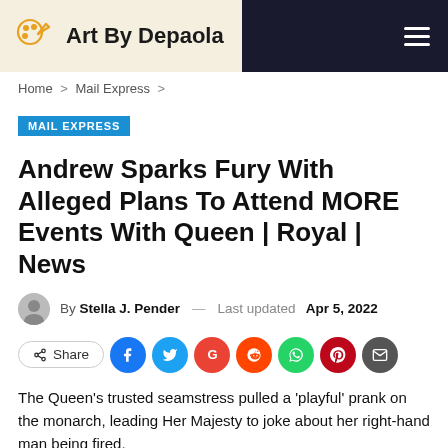Art By Depaola
Home > Mail Express >
MAIL EXPRESS
Andrew Sparks Fury With Alleged Plans To Attend MORE Events With Queen | Royal | News
By Stella J. Pender — Last updated Apr 5, 2022
[Figure (other): Social share buttons: Share, Facebook, Twitter, Google, Reddit, WhatsApp, Pinterest, Email]
The Queen's trusted seamstress pulled a ‘playful’ prank on the monarch, leading Her Majesty to joke about her right-hand man being fired.